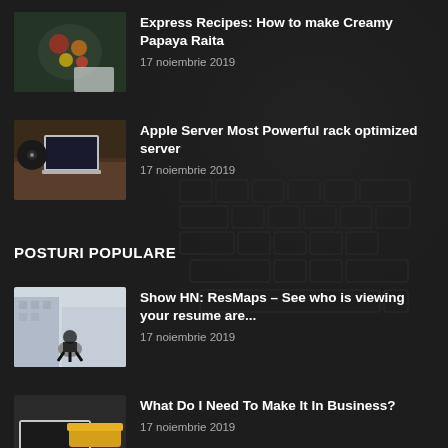[Figure (photo): Food bowl with fruits and snacks on blue background]
Express Recipes: How to make Creamy Papaya Raita
17 noiembrie 2019
[Figure (photo): Laptop and turntable on wooden desk from above]
Apple Server Most Powerful rack optimized server
17 noiembrie 2019
POSTURI POPULARE
[Figure (photo): Person sitting on urban concrete ledge]
Show HN: ResMaps – See who is viewing your resume are...
17 noiembrie 2019
[Figure (photo): Laptop on table with yellow sofa in background]
What Do I Need To Make It In Business?
17 noiembrie 2019
[Figure (photo): Food/design image partially visible at bottom]
Design better graphics with The Premium